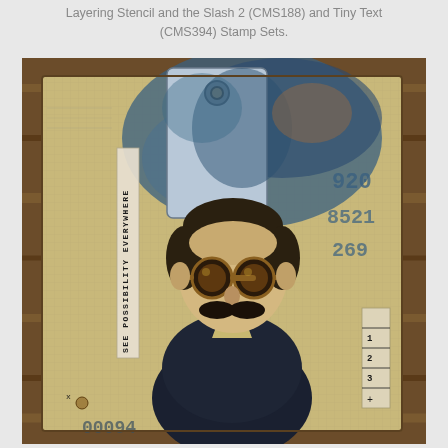Layering Stencil and the Slash 2 (CMS188) and Tiny Text (CMS394) Stamp Sets.
[Figure (photo): A mixed-media craft card/tag artwork on a wooden surface. Features a vintage-style man portrait with round steampunk goggles and mustache, layered collage elements including blue ink washes, stamped numbers (920, 8521, 269), a tag with a grommet hole, a strip of tape reading 'SEE POSSIBILITY EVERYWHERE', numbered ruler markings (1, 2, 3), and text '00094' at the bottom. The card has an aged, distressed aesthetic with rust and patina effects.]